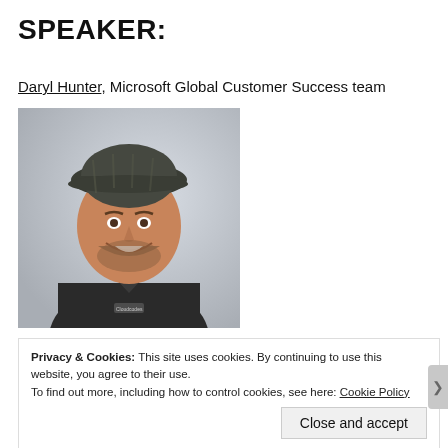SPEAKER:
Daryl Hunter, Microsoft Global Customer Success team
[Figure (photo): Headshot photo of Daryl Hunter, a man wearing a dark cap and dark polo shirt, smiling, against a light gray background.]
Privacy & Cookies: This site uses cookies. By continuing to use this website, you agree to their use.
To find out more, including how to control cookies, see here: Cookie Policy
Close and accept